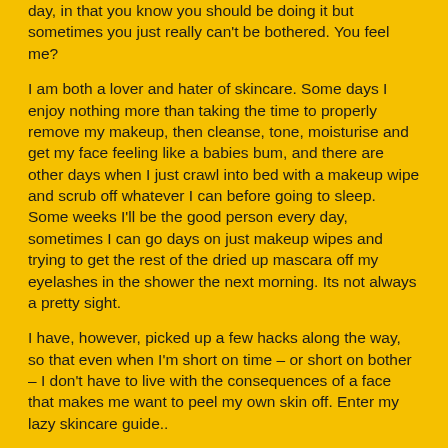day, in that you know you should be doing it but sometimes you just really can't be bothered. You feel me?
I am both a lover and hater of skincare. Some days I enjoy nothing more than taking the time to properly remove my makeup, then cleanse, tone, moisturise and get my face feeling like a babies bum, and there are other days when I just crawl into bed with a makeup wipe and scrub off whatever I can before going to sleep. Some weeks I'll be the good person every day, sometimes I can go days on just makeup wipes and trying to get the rest of the dried up mascara off my eyelashes in the shower the next morning. Its not always a pretty sight.
I have, however, picked up a few hacks along the way, so that even when I'm short on time – or short on bother – I don't have to live with the consequences of a face that makes me want to peel my own skin off. Enter my lazy skincare guide..
Wash your face mask off in the shower